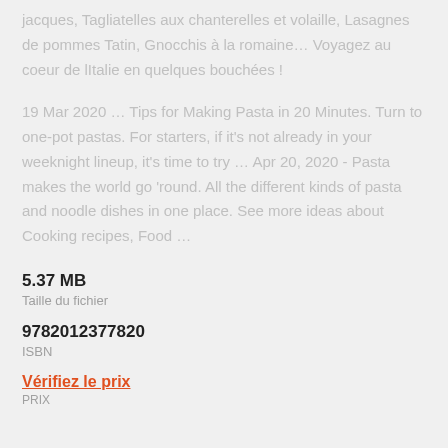jacques, Tagliatelles aux chanterelles et volaille, Lasagnes de pommes Tatin, Gnocchis à la romaine… Voyagez au coeur de lItalie en quelques bouchées !
19 Mar 2020 … Tips for Making Pasta in 20 Minutes. Turn to one-pot pastas. For starters, if it's not already in your weeknight lineup, it's time to try … Apr 20, 2020 - Pasta makes the world go 'round. All the different kinds of pasta and noodle dishes in one place. See more ideas about Cooking recipes, Food …
5.37 MB
Taille du fichier
9782012377820
ISBN
Vérifiez le prix
PRIX